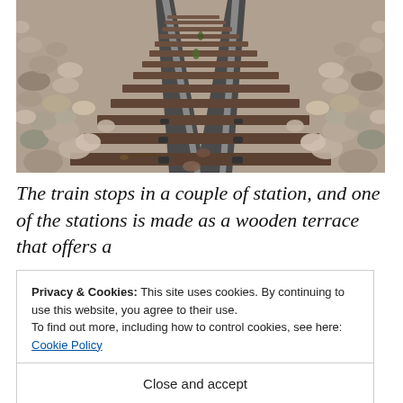[Figure (photo): Close-up photo of railway tracks with gravel ballast, wooden sleepers/ties, and metal rail fastenings, viewed from low angle looking down the track perspective.]
The train stops in a couple of station, and one of the stations is made as a wooden terrace that offers a
Privacy & Cookies: This site uses cookies. By continuing to use this website, you agree to their use.
To find out more, including how to control cookies, see here: Cookie Policy
Close and accept
restaurant, a waterfall, and a very long stairway that